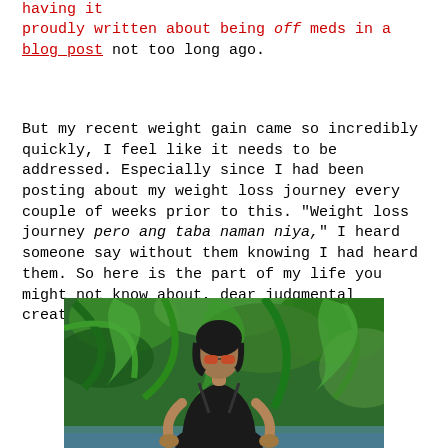having it proudly written about being off meds in a blog post not too long ago.
But my recent weight gain came so incredibly quickly, I feel like it needs to be addressed. Especially since I had been posting about my weight loss journey every couple of weeks prior to this. "Weight loss journey pero ang taba naman niya," I heard someone say without them knowing I had heard them. So here is the part of my life you might not know about, dear judgmental creature...
[Figure (photo): Woman in black bikini sitting by a pool with lush green tropical foliage in the background, wearing sunglasses]